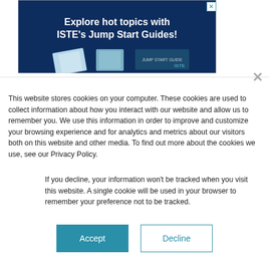[Figure (illustration): Advertisement banner for ISTE Jump Start Guides with dark blue background, white bold text reading 'Explore hot topics with ISTE's Jump Start Guides!' and book images at the bottom.]
This website stores cookies on your computer. These cookies are used to collect information about how you interact with our website and allow us to remember you. We use this information in order to improve and customize your browsing experience and for analytics and metrics about our visitors both on this website and other media. To find out more about the cookies we use, see our Privacy Policy.
If you decline, your information won't be tracked when you visit this website. A single cookie will be used in your browser to remember your preference not to be tracked.